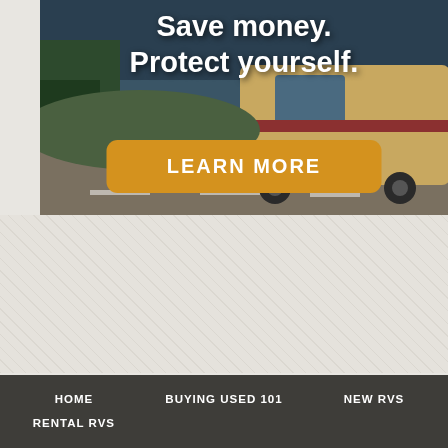[Figure (photo): Banner image of a large RV/motorcoach on a highway road, overlaid with white bold text 'Save money. Protect yourself.' and an orange 'LEARN MORE' button]
Save money.
Protect yourself.
LEARN MORE
HOME    BUYING USED 101    NEW RVS    RENTAL RVS